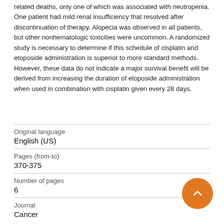related deaths, only one of which was associated with neutropenia. One patient had mild renal insufficiency that resolved after discontinuation of therapy. Alopecia was observed in all patients, but other nonhematologic toxicities were uncommon. A randomized study is necessary to determine if this schedule of cisplatin and etoposide administration is superior to more standard methods. However, these data do not indicate a major survival benefit will be derived from increasing the duration of etoposide administration when used in combination with cisplatin given every 28 days.
| Field | Value |
| --- | --- |
| Original language | English (US) |
| Pages (from-to) | 370-375 |
| Number of pages | 6 |
| Journal | Cancer |